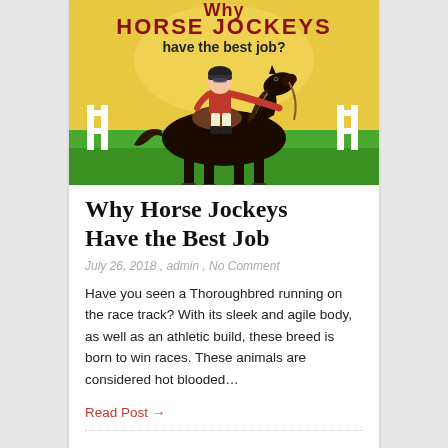[Figure (illustration): Illustrated blog post header image showing a jockey in red jacket riding a dark brown horse on a racing track, with a yellow/golden sky background and green grass. Text at top reads 'Why HORSE JOCKEYS have the best job?' in stylized lettering.]
Why Horse Jockeys Have the Best Job
July 26, 2018 , admin , No Comment
Have you seen a Thoroughbred running on the race track? With its sleek and agile body, as well as an athletic build, these breed is born to win races. These animals are considered hot blooded…
Read Post →